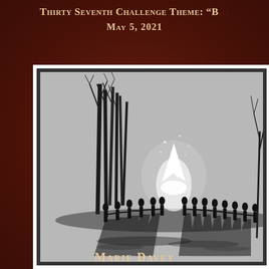Thirty Seventh Challenge Theme: "B... May 5, 2021
[Figure (illustration): Black and white artwork showing silhouetted figures in a circle around a bonfire, with bare trees on the left and long shadows cast outward from the fire]
Marie Davey